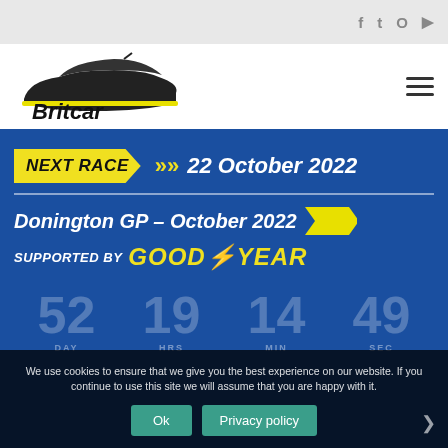Social media icons: Facebook, Twitter, Instagram, YouTube
[Figure (logo): Britcar logo — stylized racing car silhouette in black and yellow with bold italic 'Britcar' text]
NEXT RACE >> 22 October 2022
Donington GP – October 2022
SUPPORTED BY GOODYEAR
52 DAY  19 HRS  14 MIN  49 SEC
We use cookies to ensure that we give you the best experience on our website. If you continue to use this site we will assume that you are happy with it.
Ok   Privacy policy